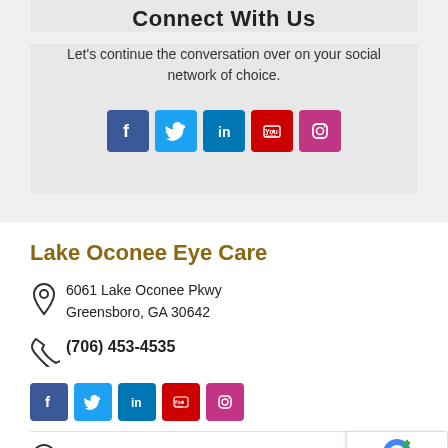Connect With Us
Let's continue the conversation over on your social network of choice.
[Figure (infographic): Five social media icons: Facebook (blue), Twitter (light blue), LinkedIn (blue), YouTube (red), Instagram (pink/purple)]
Lake Oconee Eye Care
6061 Lake Oconee Pkwy
Greensboro, GA 30642
(706) 453-4535
[Figure (infographic): Five social media icons smaller: Facebook, Twitter, LinkedIn, YouTube, Instagram]
Monday 8:00am – 5:00pm